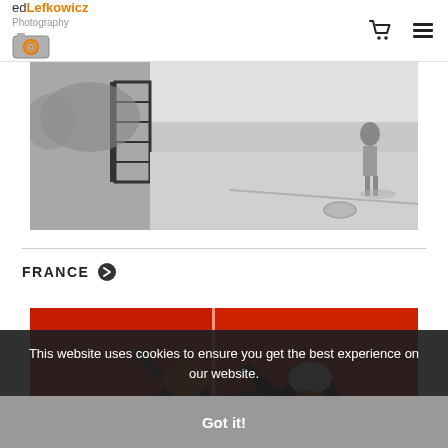edLefkowicz Photography
[Figure (photo): Black and white photograph showing a street scene with a gate, stone wall, and a person walking on a sidewalk]
FRANCE
[Figure (photo): Color photograph of two people with their backs to the camera against a bold red wall, one with red hair raising arm, one in dark jacket with orange detail]
This website uses cookies to ensure you get the best experience on our website.
Got it!